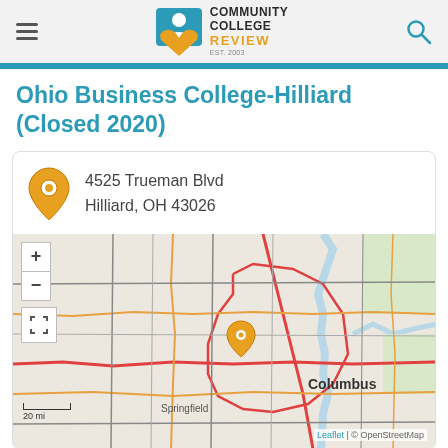Community College Review — Navigation header with logo and search icon
Ohio Business College-Hilliard (Closed 2020)
4525 Trueman Blvd
Hilliard, OH 43026
[Figure (map): OpenStreetMap showing Columbus, Ohio area with orange location pin near Hilliard. Map shows Columbus city label, Springfield label, surrounding road network in red, orange, and dark gray. Map controls include + and - zoom buttons and a fullscreen button. Scale shows 20 mi. Attribution: Leaflet | © OpenStreetMap]